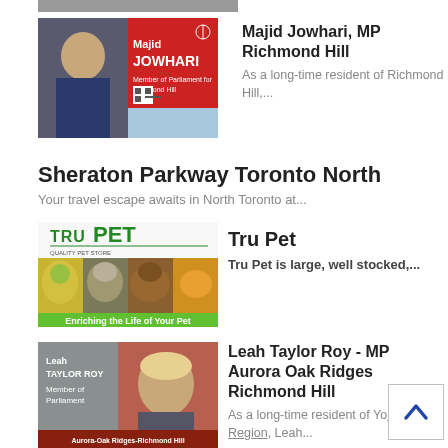[Figure (photo): Partial image bar at top of page, cropped]
[Figure (photo): Majid Jowhari MP campaign photo with red background and text 'Majid JOWHARI Member of Parliament for Richmond Hill']
Majid Jowhari, MP Richmond Hill
As a long-time resident of Richmond Hill,...
Sheraton Parkway Toronto North
Your travel escape awaits in North Toronto at...
[Figure (photo): Tru Pet advertisement with logo and animals (parrot, cat, dog, fish) and text 'Enriching the Life of Your Pet']
Tru Pet
Tru Pet is large, well stocked,...
[Figure (photo): Leah Taylor Roy MP photo with red/grey background and text 'Leah TAYLOR ROY Member of Parliament Aurora-Oak Ridges-Richmond Hill']
Leah Taylor Roy - MP Aurora Oak Ridges Richmond Hill
As a long-time resident of York Region, Leah...